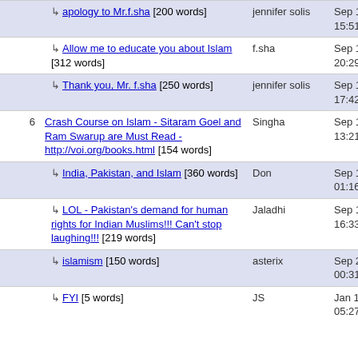| # | Title | Author | Date |
| --- | --- | --- | --- |
|  | ↳ apology to Mr.f.sha [200 words] | jennifer solis | Sep 18, 2007 15:51 |
|  | ↳ Allow me to educate you about Islam [312 words] | f.sha | Sep 18, 2007 20:29 |
|  | ↳ Thank you, Mr. f.sha [250 words] | jennifer solis | Sep 19, 2007 17:42 |
| 6 | Crash Course on Islam - Sitaram Goel and Ram Swarup are Must Read - http://voi.org/books.html [154 words] | Singha | Sep 14, 2007 13:21 |
|  | ↳ India, Pakistan, and Islam [360 words] | Don | Sep 15, 2007 01:16 |
|  | ↳ LOL - Pakistan's demand for human rights for Indian Muslims!!! Can't stop laughing!!! [219 words] | Jaladhi | Sep 19, 2007 16:33 |
|  | ↳ islamism [150 words] | asterix | Sep 22, 2012 00:31 |
|  | ↳ FYI [5 words] | JS | Jan 10, 2013 05:27 |